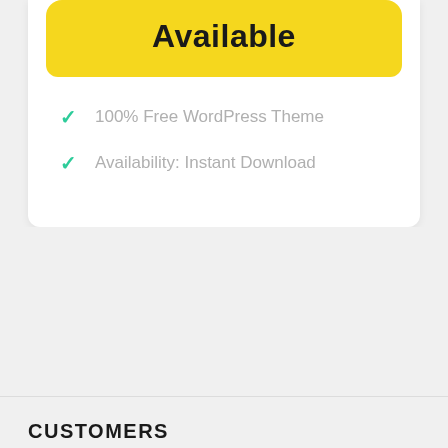[Figure (infographic): Yellow rounded button/badge with the word 'Available' in bold black text]
100% Free WordPress Theme
Availability: Instant Download
CUSTOMERS